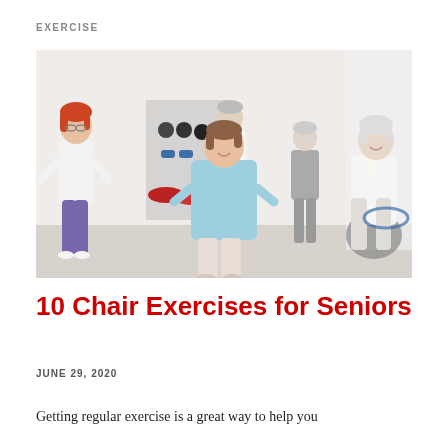EXERCISE
[Figure (photo): Group of senior adults in a fitness class doing standing exercises in a gym setting. A woman in a light blue top stands in the center with hands on hips, flanked by other seniors including a woman in white with glasses on the left and a woman with a white towel on the right. Gym equipment including dumbbells, kettlebells, and a stability ball are visible in the background.]
10 Chair Exercises for Seniors
JUNE 29, 2020
Getting regular exercise is a great way to help you